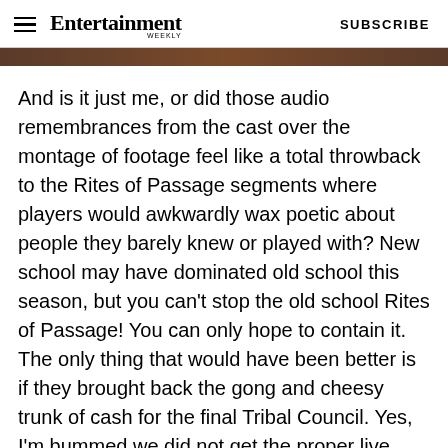Entertainment Weekly | SUBSCRIBE
[Figure (photo): Partial image strip at top of article page]
And is it just me, or did those audio remembrances from the cast over the montage of footage feel like a total throwback to the Rites of Passage segments where players would awkwardly wax poetic about people they barely knew or played with? New school may have dominated old school this season, but you can't stop the old school Rites of Passage! You can only hope to contain it. The only thing that would have been better is if they brought back the gong and cheesy trunk of cash for the final Tribal Council. Yes, I'm bummed we did not get the proper live send-off this anniversary season